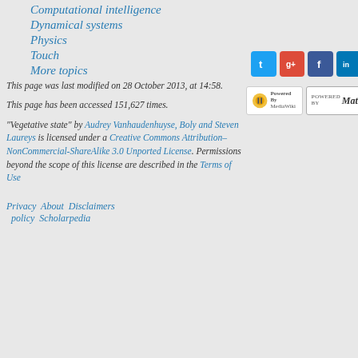Computational intelligence
Dynamical systems
Physics
Touch
More topics
This page was last modified on 28 October 2013, at 14:58.
This page has been accessed 151,627 times.
"Vegetative state" by Audrey Vanhaudenhuyse, Boly and Steven Laureys is licensed under a Creative Commons Attribution-NonCommercial-ShareAlike 3.0 Unported License. Permissions beyond the scope of this license are described in the Terms of Use
[Figure (logo): Social media icons: Twitter, Google+, Facebook, LinkedIn]
[Figure (logo): Powered by MediaWiki badge and Powered by MathJax badge]
Privacy  About  Disclaimers  policy  Scholarpedia